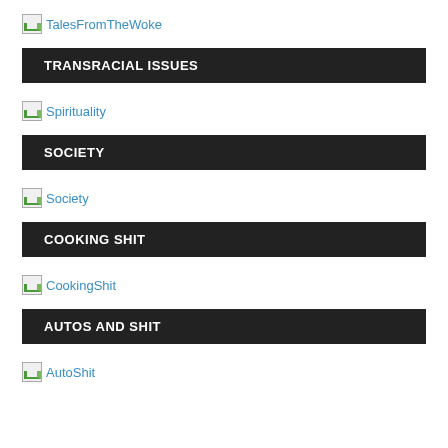[Figure (screenshot): Image placeholder icon with link text 'TalesFromTheWoke']
TRANSRACIAL ISSUES
[Figure (screenshot): Image placeholder icon with link text 'Spirituality']
SOCIETY
[Figure (screenshot): Image placeholder icon with link text 'Society']
COOKING SHIT
[Figure (screenshot): Image placeholder icon with link text 'CookingShit']
AUTOS AND SHIT
[Figure (screenshot): Image placeholder icon with link text 'AutoShit']